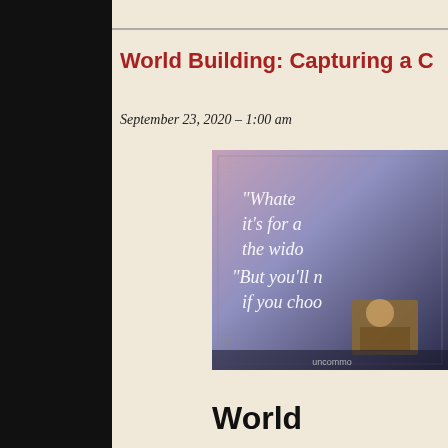World Building: Capturing a C
September 23, 2020 – 1:00 am
[Figure (illustration): Book cover or promotional image with quote text: "Whate... it's for a ... the wido... "But you'll n... if you choo..." with a small inset photo of a person, and 'uncommo...' text at the bottom. Gradient background from purple-pink to dark blue.]
World